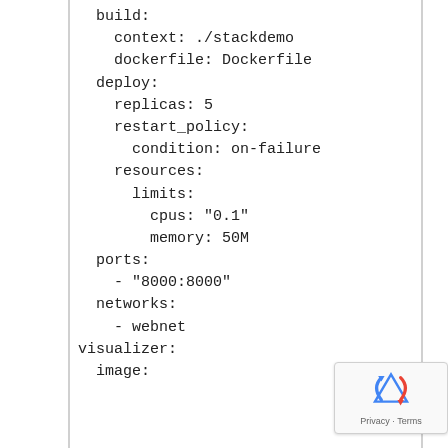build:
    context: ./stackdemo
    dockerfile: Dockerfile
  deploy:
    replicas: 5
    restart_policy:
      condition: on-failure
    resources:
      limits:
        cpus: "0.1"
        memory: 50M
  ports:
    - "8000:8000"
  networks:
    - webnet
visualizer:
  image: